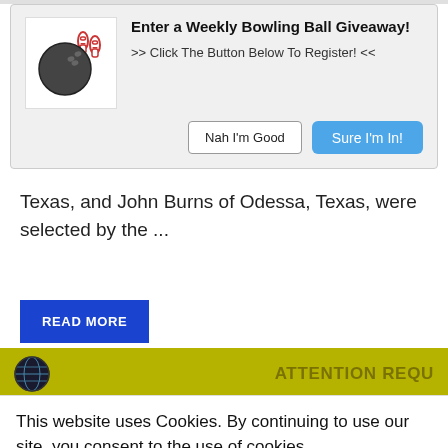[Figure (screenshot): Bowling ball giveaway popup with bowling ball and pins icon, title 'Enter a Weekly Bowling Ball Giveaway!', subtitle '>> Click The Button Below To Register! <<', and two buttons: 'Nah I'm Good' and 'Sure I'm In!']
Texas, and John Burns of Odessa, Texas, were selected by the ...
READ MORE
[Figure (screenshot): Footer bar with yellow-green background showing a globe icon on the left and 'ATTENTION REQU' text on the right (truncated)]
This website uses Cookies. By continuing to use our site, you consent to the use of cookies.
Accept    Privacy Center
ARLINGTON, Texas – The sport of bowling and the United